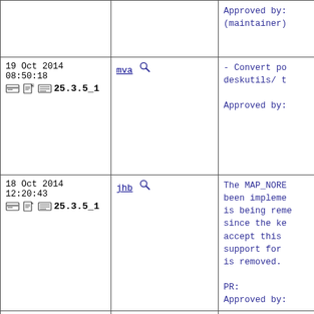| Date/Version | Committer | Description |
| --- | --- | --- |
| (maintainer) |  | Approved by:
(maintainer) |
| 19 Oct 2014 08:50:18
25.3.5_1 | mva | - Convert po
deskutils/ t

Approved by: |
| 18 Oct 2014 12:20:43
25.3.5_1 | jhb | The MAP_NORE
been impleme
is being reme
since the ke
accept this
support for
is removed.

PR:
Approved by: |
| 05 Aug 2014 06:36:07
25.3.5_1 | bapt | USES=execinf |
| 20 Jul 2014 20:42:24
25.3.5_1 | marino | databases/ga
USE_PYTHON_B

Also adjust
fix LD_LIBRA

PR:
Submitted by |